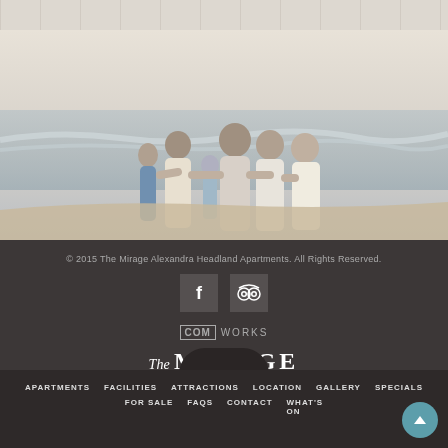[Figure (photo): A family of multiple generations standing together on a beach facing the ocean, viewed from behind. The scene has a soft, warm beach atmosphere.]
© 2015 The Mirage Alexandra Headland Apartments. All Rights Reserved.
[Figure (logo): Facebook icon (F logo) in a grey square]
[Figure (logo): TripAdvisor icon (binoculars/owl logo) in a grey square]
[Figure (logo): COMWORKS logo with COM in a box]
[Figure (logo): The Mirage Alexandra Headland logo in white serif text on dark background]
APARTMENTS   FACILITIES   ATTRACTIONS   LOCATION   GALLERY   SPECIALS   FOR SALE   FAQS   CONTACT   WHAT'S ON